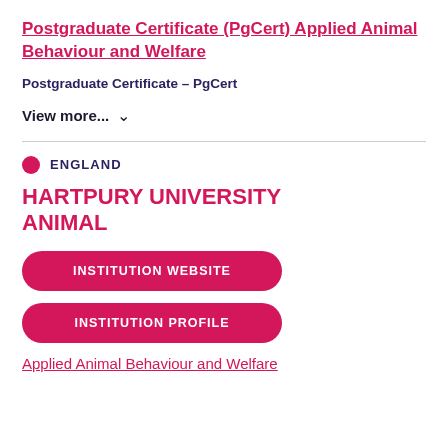Postgraduate Certificate (PgCert) Applied Animal Behaviour and Welfare
Postgraduate Certificate – PgCert
View more... ∨
● ENGLAND
HARTPURY UNIVERSITY ANIMAL
INSTITUTION WEBSITE
INSTITUTION PROFILE
Applied Animal Behaviour and Welfare